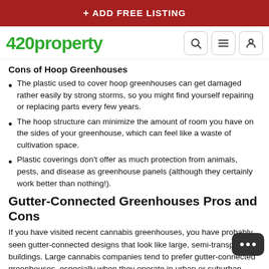+ ADD FREE LISTING
[Figure (logo): 420property logo with navigation icons (search, menu, user)]
Cons of Hoop Greenhouses
The plastic used to cover hoop greenhouses can get damaged rather easily by strong storms, so you might find yourself repairing or replacing parts every few years.
The hoop structure can minimize the amount of room you have on the sides of your greenhouse, which can feel like a waste of cultivation space.
Plastic coverings don't offer as much protection from animals, pests, and disease as greenhouse panels (although they certainly work better than nothing!).
Gutter-Connected Greenhouses Pros and Cons
If you have visited recent cannabis greenhouses, you have probably seen gutter-connected designs that look like large, semi-transparent buildings. Large cannabis companies tend to prefer gutter-connected greenhouses, especially when they operate in urban or suburban green zones.